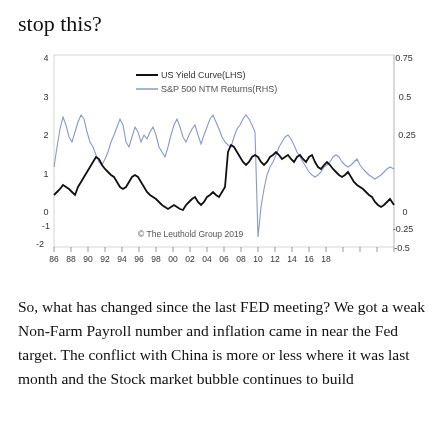stop this?
[Figure (continuous-plot): Dual-axis line chart showing US Yield Curve (LHS, black line) and S&P 500 NTM Returns (RHS, blue/light line) from 1986 to 2018. Left y-axis ranges from -2 to 4, right y-axis ranges from -0.5 to 0.75. Source: The Leuthold Group 2019.]
So, what has changed since the last FED meeting? We got a weak Non-Farm Payroll number and inflation came in near the Fed target. The conflict with China is more or less where it was last month and the Stock market bubble continues to build